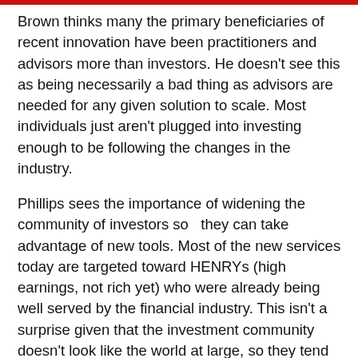Brown thinks many the primary beneficiaries of recent innovation have been practitioners and advisors more than investors. He doesn't see this as being necessarily a bad thing as advisors are needed for any given solution to scale. Most individuals just aren't plugged into investing enough to be following the changes in the industry.
Phillips sees the importance of widening the community of investors so  they can take advantage of new tools. Most of the new services today are targeted toward HENRYs (high earnings, not rich yet) who were already being well served by the financial industry. This isn't a surprise given that the investment community doesn't look like the world at large, so they tend to focus products on people that have similar profiles to themselves. Phillips advocated for a broader representation of women and minorities into the industry to help find the best way to benefit more